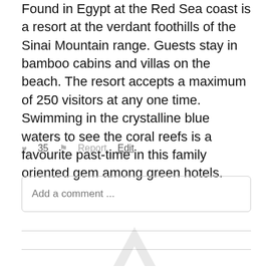Found in Egypt at the Red Sea coast is a resort at the verdant foothills of the Sinai Mountain range. Guests stay in bamboo cabins and villas on the beach. The resort accepts a maximum of 250 visitors at any one time. Swimming in the crystalline blue waters to see the coral reefs is a favourite past-time in this family oriented gem among green hotels.
♥ 35   ⚑ Report   Edit
Add a comment ...